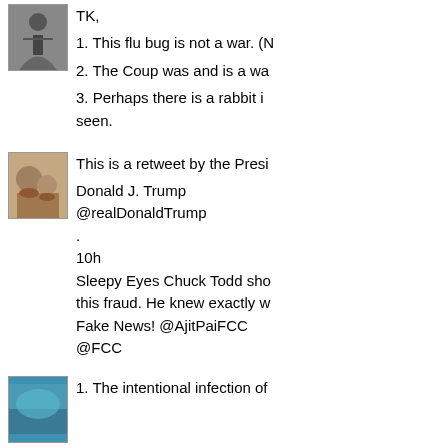[Figure (photo): Avatar photo: person with dark object, grayscale/dark tones]
TK,
1. This flu bug is not a war. (N
2. The Coup was and is a wa
3. Perhaps there is a rabbit i... seen.
[Figure (photo): Avatar photo: vintage family photo, women and children]
This is a retweet by the Presi
Donald J. Trump
@realDonaldTrump
.
10h
Sleepy Eyes Chuck Todd sho... this fraud. He knew exactly w... Fake News! @AjitPaiFCC @FCC
[Figure (photo): Avatar photo: teal/blue tones, partial view]
1. The intentional infection of